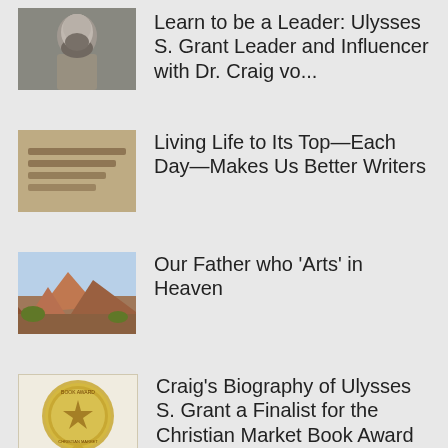Learn to be a Leader: Ulysses S. Grant Leader and Influencer with Dr. Craig vo...
Living Life to Its Top—Each Day—Makes Us Better Writers
Our Father who 'Arts' in Heaven
Craig's Biography of Ulysses S. Grant a Finalist for the Christian Market Book Award